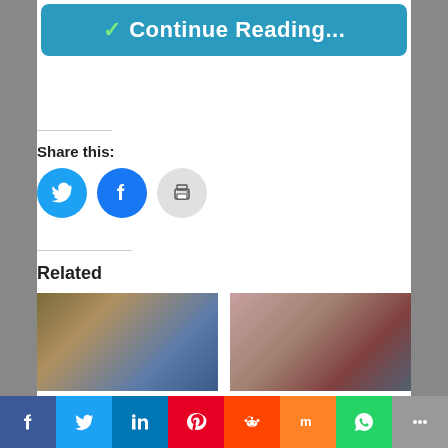[Figure (other): Teal button with checkmark and text 'Continue Reading...']
Share this:
[Figure (infographic): Three social sharing icons: Twitter (blue circle), Facebook (blue circle), Print (gray circle)]
Related
[Figure (photo): TV show still from Younger Season 6 Episode 4 showing women at a dining table]
Younger Season 6 Episode 4: An Inside Glob
[Figure (photo): TV show still from Younger Season 6 Episode 12 showing characters at a formal event]
Younger Season 6 Episode 12: Forever
September 8, 2019
[Figure (infographic): Social sharing bar with icons: Facebook, Twitter, LinkedIn, Pinterest, Reddit, Mix, WhatsApp, More]